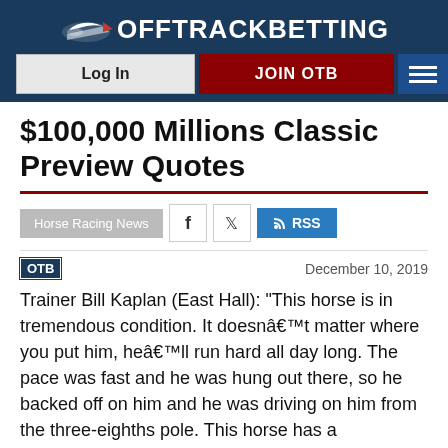OffTrackBetting
$100,000 Millions Classic Preview Quotes
Horse Racing News
December 10, 2019
Trainer Bill Kaplan (East Hall): "This horse is in tremendous condition. It doesnâ€™t matter where you put him, heâ€™ll run hard all day long. The pace was fast and he was hung out there, so he backed off on him and he was driving on him from the three-eighths pole. This horse has a tremendous cardiovascular